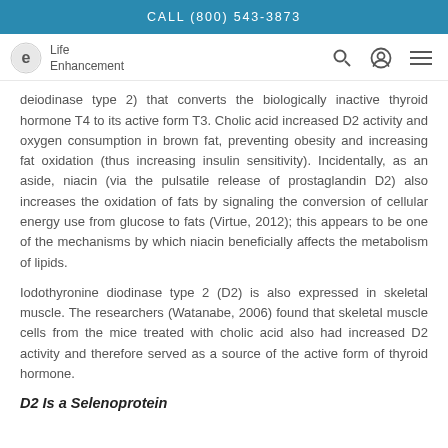CALL (800) 543-3873
[Figure (logo): Life Enhancement logo with icon]
deiodinase type 2) that converts the biologically inactive thyroid hormone T4 to its active form T3. Cholic acid increased D2 activity and oxygen consumption in brown fat, preventing obesity and increasing fat oxidation (thus increasing insulin sensitivity). Incidentally, as an aside, niacin (via the pulsatile release of prostaglandin D2) also increases the oxidation of fats by signaling the conversion of cellular energy use from glucose to fats (Virtue, 2012); this appears to be one of the mechanisms by which niacin beneficially affects the metabolism of lipids.
Iodothyronine diodinase type 2 (D2) is also expressed in skeletal muscle. The researchers (Watanabe, 2006) found that skeletal muscle cells from the mice treated with cholic acid also had increased D2 activity and therefore served as a source of the active form of thyroid hormone.
D2 Is a Selenoprotein